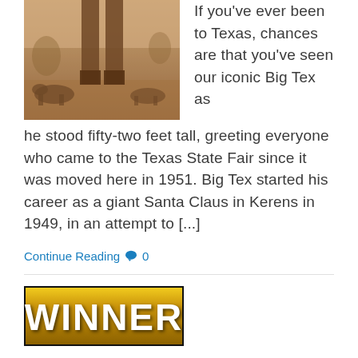[Figure (photo): Sepia-toned vintage photograph showing legs of a tall figure (Big Tex) with cattle and fair grounds in the background.]
If you've ever been to Texas, chances are that you've seen our iconic Big Tex as he stood fifty-two feet tall, greeting everyone who came to the Texas State Fair since it was moved here in 1951. Big Tex started his career as a giant Santa Claus in Kerens in 1949, in an attempt to [...]
Continue Reading 💬 0
[Figure (other): WINNER badge with gold gradient background and bold white text reading WINNER]